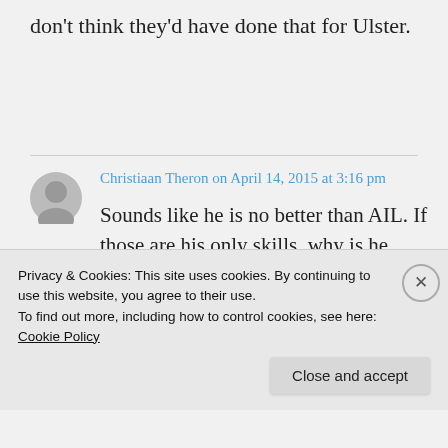don't think they'd have done that for Ulster.
Christiaan Theron on April 14, 2015 at 3:16 pm
Sounds like he is no better than AIL. If those are his only skills, why is he going to Edinburgh ?
Privacy & Cookies: This site uses cookies. By continuing to use this website, you agree to their use.
To find out more, including how to control cookies, see here: Cookie Policy